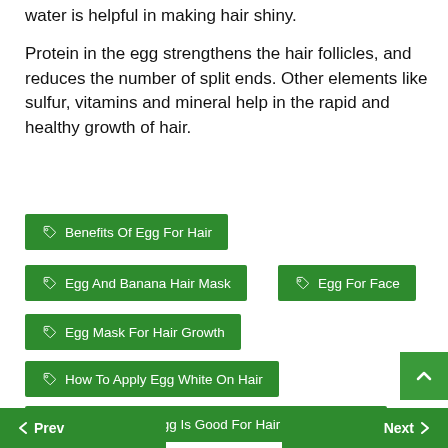water is helpful in making hair shiny.
Protein in the egg strengthens the hair follicles, and reduces the number of split ends. Other elements like sulfur, vitamins and mineral help in the rapid and healthy growth of hair.
Benefits Of Egg For Hair
Egg And Banana Hair Mask
Egg For Face
Egg Mask For Hair Growth
How To Apply Egg White On Hair
Which Part Of Egg Is Good For Hair
< Prev   Next >